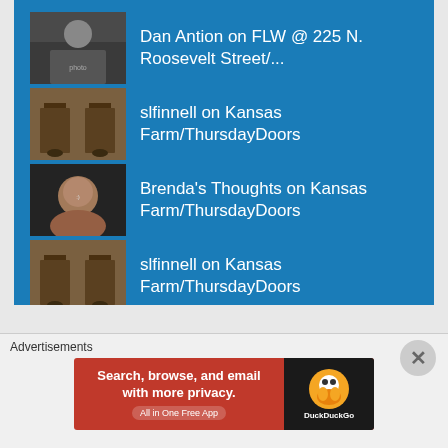Dan Antion on FLW @ 225 N. Roosevelt Street/...
slfinnell on Kansas Farm/ThursdayDoors
Brenda's Thoughts on Kansas Farm/ThursdayDoors
slfinnell on Kansas Farm/ThursdayDoors
Categories
Advertisements
[Figure (screenshot): DuckDuckGo advertisement banner: Search, browse, and email with more privacy. All in One Free App]